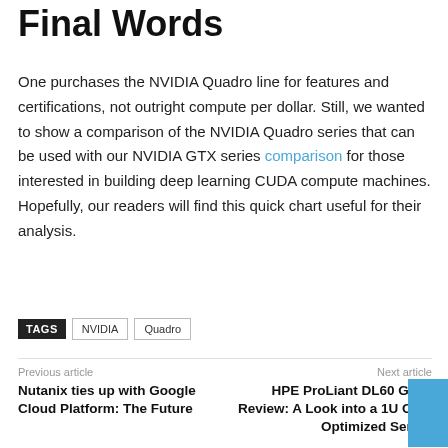Final Words
One purchases the NVIDIA Quadro line for features and certifications, not outright compute per dollar. Still, we wanted to show a comparison of the NVIDIA Quadro series that can be used with our NVIDIA GTX series comparison for those interested in building deep learning CUDA compute machines. Hopefully, our readers will find this quick chart useful for their analysis.
TAGS  NVIDIA  Quadro
Previous article
Nutanix ties up with Google Cloud Platform: The Future
Next article
HPE ProLiant DL60 Gen9 Review: A Look into a 1U Cost Optimized Server